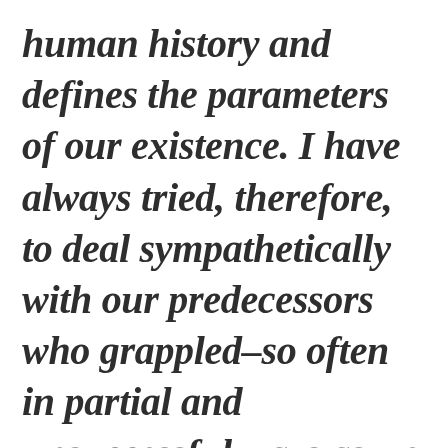human history and defines the parameters of our existence. I have always tried, therefore, to deal sympathetically with our predecessors who grappled–so often in partial and unsuccessful ways as we